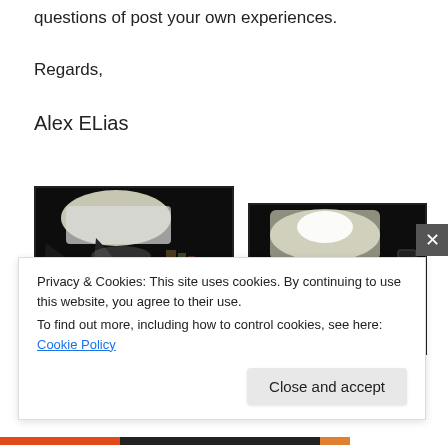questions of post your own experiences.
Regards,
Alex ELias
[Figure (photo): Dark photography studio setup showing yellow flowers on a surface with a large softbox light above and camera equipment in background]
[Figure (photo): Dark photography studio setup showing a small potted plant with pink flower under a large softbox light on a tripod, with watermark 'Alex Elias']
Privacy & Cookies: This site uses cookies. By continuing to use this website, you agree to their use.
To find out more, including how to control cookies, see here: Cookie Policy
Close and accept